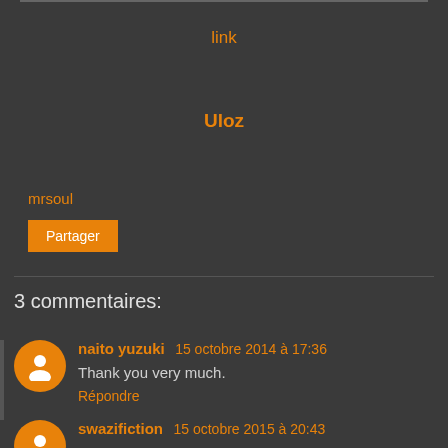link
Uloz
mrsoul
Partager
3 commentaires:
naito yuzuki  15 octobre 2014 à 17:36
Thank you very much.
Répondre
swazifiction  15 octobre 2015 à 20:43